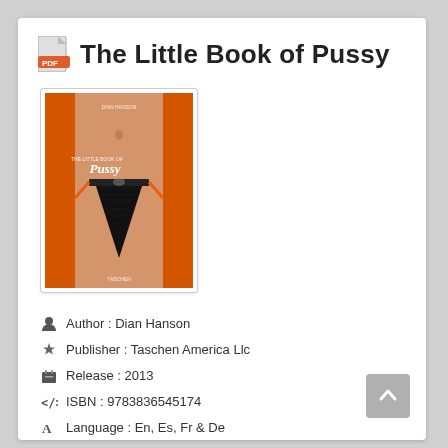The Little Book of Pussy
[Figure (photo): Book cover of 'The Little Book of Pussy' published by Taschen, showing a close-up torso with black lace underwear on an orange background]
Author : Dian Hanson
Publisher : Taschen America Llc
Release : 2013
ISBN : 9783836545174
Language : En, Es, Fr & De